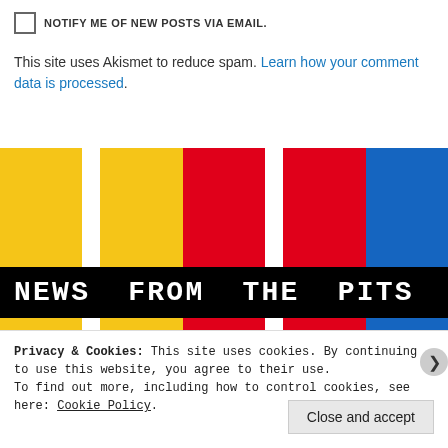NOTIFY ME OF NEW POSTS VIA EMAIL.
This site uses Akismet to reduce spam. Learn how your comment data is processed.
[Figure (illustration): News From The Pits blog banner with colored vertical strips (yellow, white, yellow, red, white, red, blue) and black bar with white text 'NEWS FROM THE PITS' in monospace font]
Privacy & Cookies: This site uses cookies. By continuing to use this website, you agree to their use.
To find out more, including how to control cookies, see here: Cookie Policy.
Close and accept